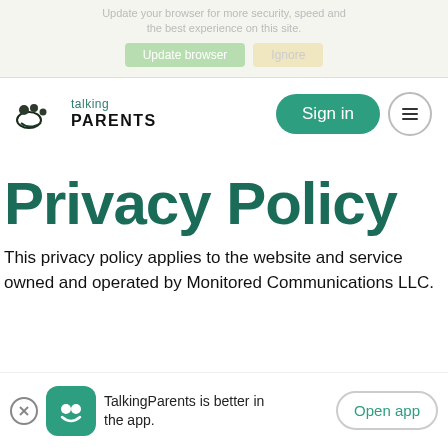Update your browser for more security, speed and the best experience on this site. Update browser  Ignore
[Figure (logo): TalkingParents logo with icon and text, Sign in button, and hamburger menu]
Privacy Policy
This privacy policy applies to the website and service owned and operated by Monitored Communications LLC.
TalkingParents is better in the app. Open app